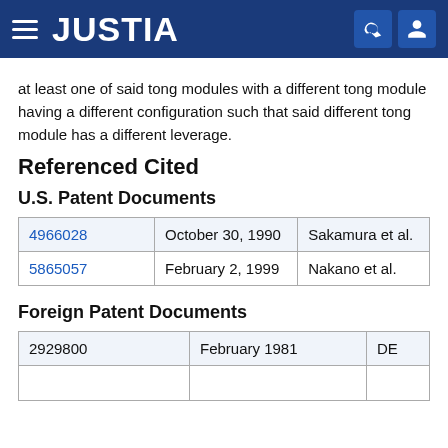JUSTIA
at least one of said tong modules with a different tong module having a different configuration such that said different tong module has a different leverage.
Referenced Cited
U.S. Patent Documents
|  | Date | Inventor |
| --- | --- | --- |
| 4966028 | October 30, 1990 | Sakamura et al. |
| 5865057 | February 2, 1999 | Nakano et al. |
Foreign Patent Documents
|  | Date | Country |
| --- | --- | --- |
| 2929800 | February 1981 | DE |
| ... | ... | ... |